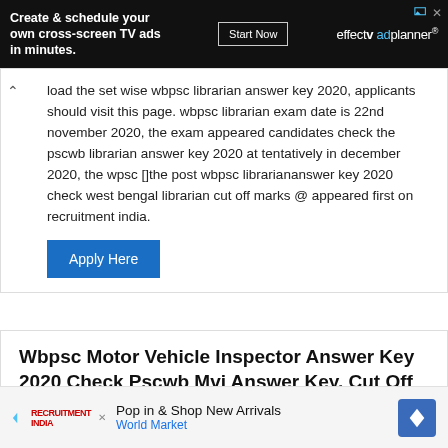[Figure (other): Advertisement banner for effectv ad planner: 'Create & schedule your own cross-screen TV ads in minutes.' with Start Now button]
load the set wise wbpsc librarian answer key 2020, applicants should visit this page. wbpsc librarian exam date is 22nd november 2020, the exam appeared candidates check the pscwb librarian answer key 2020 at tentatively in december 2020, the wpsc []the post wbpsc librariananswer key 2020 check west bengal librarian cut off marks @ appeared first on recruitment india.
[Figure (other): Apply Here button (blue)]
Wbpsc Motor Vehicle Inspector Answer Key 2020 Check Pscwb Mvi Answer Key, Cut Off @ Wbpsc.gov.in at India
Recruitmentindia.in
[Figure (other): Bottom advertisement banner: 'Pop in & Shop New Arrivals, World Market']